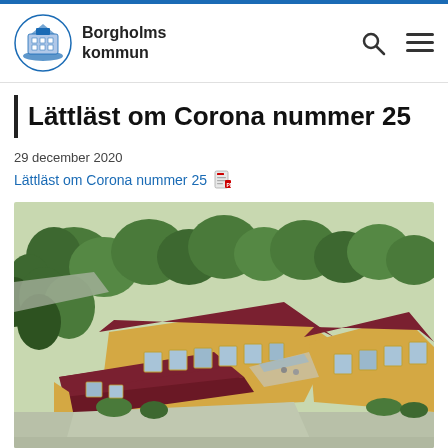Borgholms kommun
Lättläst om Corona nummer 25
29 december 2020
Lättläst om Corona nummer 25 [PDF link]
[Figure (illustration): Aerial rendering of a modern yellow-brick residential or care building complex with dark brownish-red roofs surrounded by green trees]